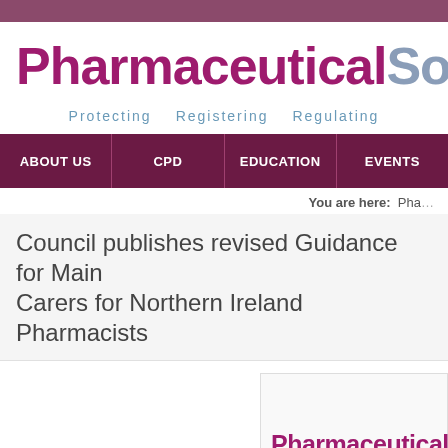[Figure (screenshot): Pharmaceutical Society website header with logo showing 'PharmaceuticalSociety' in maroon and grey, tagline 'Protecting Registering Regulating' in blue, navigation bar with ABOUT US, CPD, EDUCATION, EVENTS menu items on dark maroon background]
You are here:  Pha…
Council publishes revised Guidance for Main Carers for Northern Ireland Pharmacists
[Figure (logo): Pharmaceutical Society logo thumbnail with maroon text and tagline 'Protecting Registering Reg...']